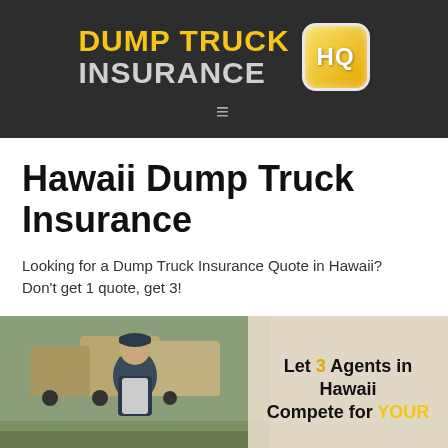DUMP TRUCK INSURANCE HQ
Hawaii Dump Truck Insurance
Looking for a Dump Truck Insurance Quote in Hawaii? Don't get 1 quote, get 3!
[Figure (photo): Man in a blue cap and vest standing in front of dump trucks, with a promotional overlay reading 'Let 3 Agents in Hawaii Compete for YOUR']